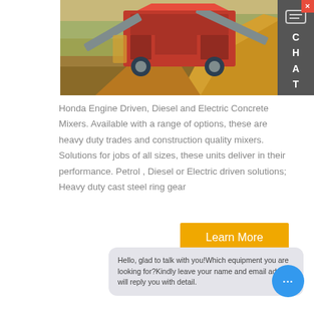[Figure (photo): Industrial mobile crusher/screener machine (red) processing wood chips or crushed material on a construction/quarry site. Large piles of yellow-brown material on the right. Outdoor setting with trees in background.]
Honda Engine Driven, Diesel and Electric Concrete Mixers. Available with a range of options, these are heavy duty trades and construction quality mixers. Solutions for jobs of all sizes, these units deliver in their performance. Petrol , Diesel or Electric driven solutions; Heavy duty cast steel ring gear
Learn More
Hello, glad to talk with you!Which equipment you are looking for?Kindly leave your name and email add, we will reply you with detail.